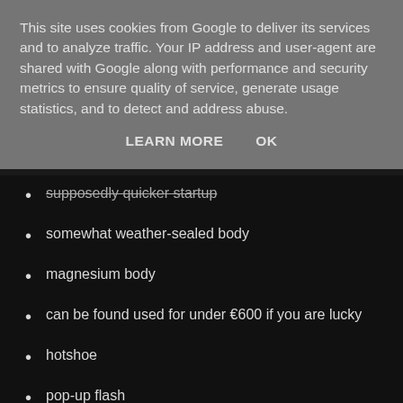This site uses cookies from Google to deliver its services and to analyze traffic. Your IP address and user-agent are shared with Google along with performance and security metrics to ensure quality of service, generate usage statistics, and to detect and address abuse.
LEARN MORE   OK
supposedly quicker startup
somewhat weather-sealed body
magnesium body
can be found used for under €600 if you are lucky
hotshoe
pop-up flash
electronic first-curtain shutter
The bad: